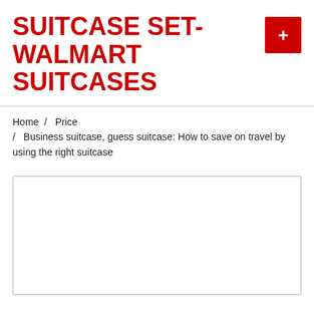SUITCASE SET- WALMART SUITCASES
Home / Price / Business suitcase, guess suitcase: How to save on travel by using the right suitcase
[Figure (other): Empty white content box with light gray border]